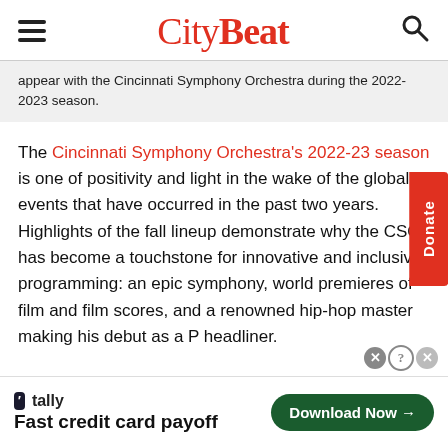CityBeat
appear with the Cincinnati Symphony Orchestra during the 2022-2023 season.
The Cincinnati Symphony Orchestra's 2022-23 season is one of positivity and light in the wake of the global events that have occurred in the past two years. Highlights of the fall lineup demonstrate why the CSO has become a touchstone for innovative and inclusive programming: an epic symphony, world premieres of film and film scores, and a renowned hip-hop master making his debut as a Pops headliner.
[Figure (screenshot): Advertisement banner for Tally app with tagline 'Fast credit card payoff' and a Download Now button]